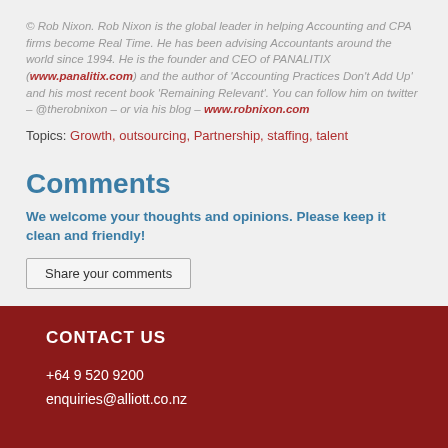© Rob Nixon. Rob Nixon is the global leader in helping Accounting and CPA firms become Real Time. He has been advising Accountants around the world since 1994. He is the founder and CEO of PANALITIX (www.panalitix.com) and the author of 'Accounting Practices Don't Add Up' and his most recent book 'Remaining Relevant'. You can follow him on twitter – @therobnixon – or via his blog – www.robnixon.com
Topics: Growth, outsourcing, Partnership, staffing, talent
Comments
We welcome your thoughts and opinions. Please keep it clean and friendly!
Share your comments
CONTACT US
+64 9 520 9200
enquiries@alliott.co.nz